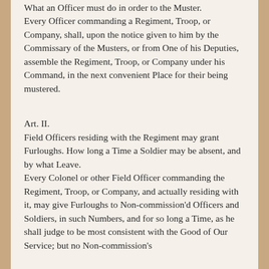What an Officer must do in order to the Muster. Every Officer commanding a Regiment, Troop, or Company, shall, upon the notice given to him by the Commissary of the Musters, or from One of his Deputies, assemble the Regiment, Troop, or Company under his Command, in the next convenient Place for their being mustered.
Art. II.
Field Officers residing with the Regiment may grant Furloughs. How long a Time a Soldier may be absent, and by what Leave. Every Colonel or other Field Officer commanding the Regiment, Troop, or Company, and actually residing with it, may give Furloughs to Non-commission'd Officers and Soldiers, in such Numbers, and for so long a Time, as he shall judge to be most consistent with the Good of Our Service; but no Non-commission's